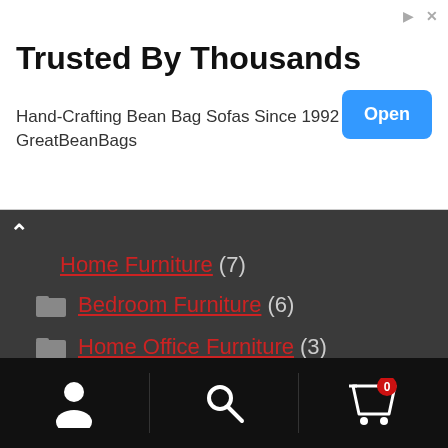[Figure (screenshot): Advertisement banner: 'Trusted By Thousands' with Open button]
Home Furniture (7)
Bedroom Furniture (6)
Home Office Furniture (3)
Kids' Furniture (1)
Kitchen & Dining Room Furniture (2)
Living Room Furniture (6)
Home Improvement (1)